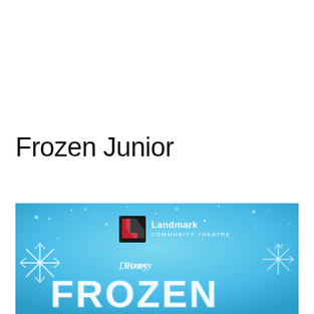Frozen Junior
[Figure (illustration): Frozen Junior show poster for Landmark Community Theatre. Blue icy background with snowflake decorations. Landmark Community Theatre logo (red L icon with black and white box, text 'Landmark COMMUNITY THEATRE') at top center. Disney logo in white script below. Large stylized 'FROZEN' text in white/icy letters at bottom.]